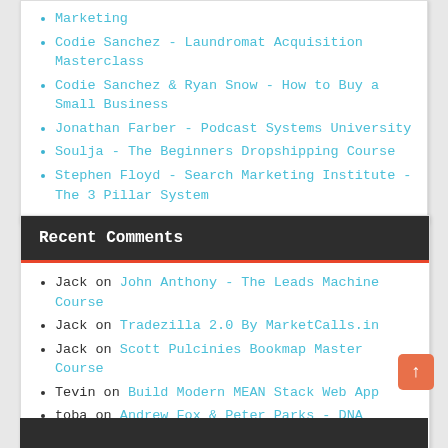Marketing
Codie Sanchez - Laundromat Acquisition Masterclass
Codie Sanchez & Ryan Snow - How to Buy a Small Business
Jonathan Farber - Podcast Systems University
Soulja - The Beginners Dropshipping Course
Stephen Floyd - Search Marketing Institute - The 3 Pillar System
Recent Comments
Jack on John Anthony - The Leads Machine Course
Jack on Tradezilla 2.0 By MarketCalls.in
Jack on Scott Pulcinies Bookmap Master Course
Tevin on Build Modern MEAN Stack Web App
toba on Andrew Fox & Peter Parks - DNA Wealth Blueprint v3.0